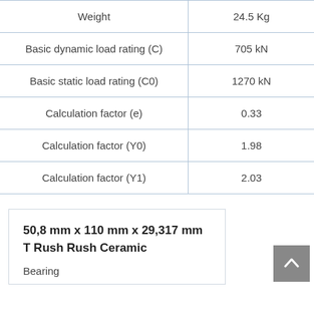| Property | Value |
| --- | --- |
| Weight | 24.5 Kg |
| Basic dynamic load rating (C) | 705 kN |
| Basic static load rating (C0) | 1270 kN |
| Calculation factor (e) | 0.33 |
| Calculation factor (Y0) | 1.98 |
| Calculation factor (Y1) | 2.03 |
50,8 mm x 110 mm x 29,317 mm T Rush Rush Ceramic
Bearing